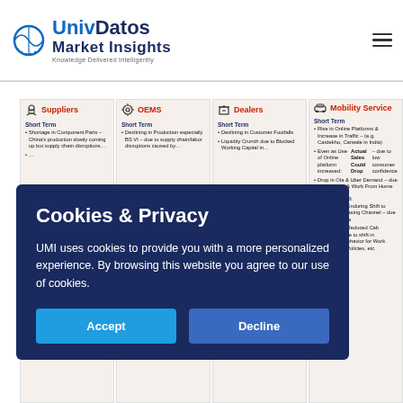UnivDatos Market Insights — Knowledge Delivered Intelligently
[Figure (infographic): Four-column infographic showing COVID-19 impact on automotive stakeholders: Suppliers, OEMs, Dealers, and Mobility Service. Each column shows Short Term and Medium Term impacts as bullet points.]
Cookies & Privacy
UMI uses cookies to provide you with a more personalized experience. By browsing this website you agree to our use of cookies.
Accept
Decline